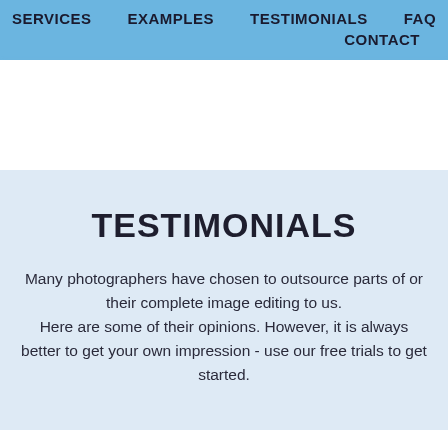SERVICES   EXAMPLES   TESTIMONIALS   FAQ   CONTACT
TESTIMONIALS
Many photographers have chosen to outsource parts of or their complete image editing to us. Here are some of their opinions. However, it is always better to get your own impression - use our free trials to get started.